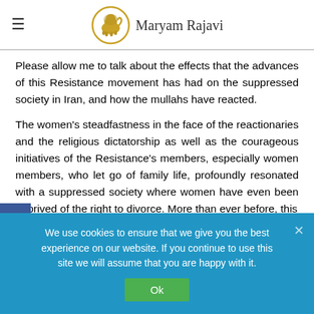Maryam Rajavi
Please allow me to talk about the effects that the advances of this Resistance movement has had on the suppressed society in Iran, and how the mullahs have reacted.
The women's steadfastness in the face of the reactionaries and the religious dictatorship as well as the courageous initiatives of the Resistance's members, especially women members, who let go of family life, profoundly resonated with a suppressed society where women have even been deprived of the right to divorce. More than ever before, this historic step placed women at the forefront of the
We use cookies to ensure that we give you the best experience on our website. If you continue to use this site we will assume that you are happy with it.